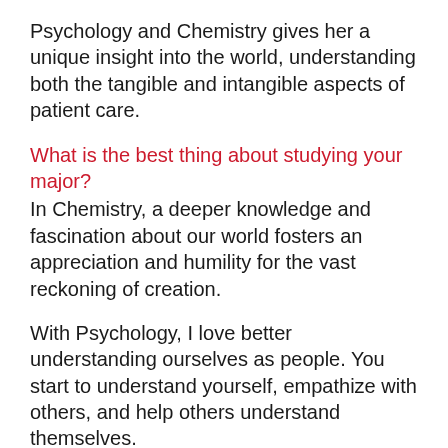Psychology and Chemistry gives her a unique insight into the world, understanding both the tangible and intangible aspects of patient care.
What is the best thing about studying your major?
In Chemistry, a deeper knowledge and fascination about our world fosters an appreciation and humility for the vast reckoning of creation.
With Psychology, I love better understanding ourselves as people. You start to understand yourself, empathize with others, and help others understand themselves.
When I learned to understand what makes people the way they are, it widened my worldview.